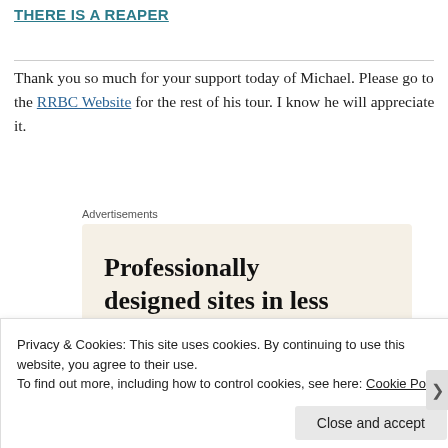THERE IS A REAPER
Thank you so much for your support today of Michael. Please go to the RRBC Website for the rest of his tour. I know he will appreciate it.
Advertisements
[Figure (illustration): Advertisement banner with beige background showing text 'Professionally designed sites in less than a week' with decorative card elements showing letter A]
Privacy & Cookies: This site uses cookies. By continuing to use this website, you agree to their use.
To find out more, including how to control cookies, see here: Cookie Policy
Close and accept